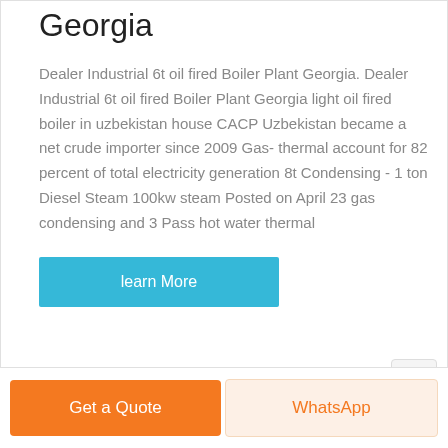Georgia
Dealer Industrial 6t oil fired Boiler Plant Georgia. Dealer Industrial 6t oil fired Boiler Plant Georgia light oil fired boiler in uzbekistan house CACP Uzbekistan became a net crude importer since 2009 Gas- thermal account for 82 percent of total electricity generation 8t Condensing - 1 ton Diesel Steam 100kw steam Posted on April 23 gas condensing and 3 Pass hot water thermal
learn More
Get a Quote
WhatsApp